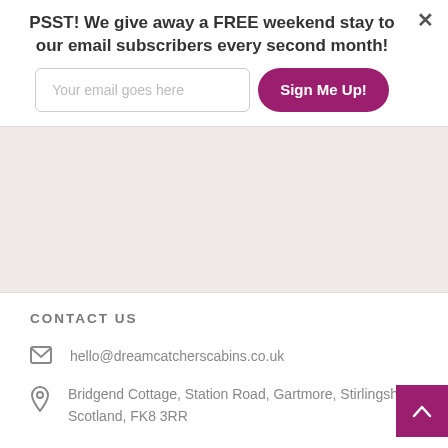PSST! We give away a FREE weekend stay to our email subscribers every second month!
[Figure (screenshot): Email signup form with text input placeholder 'Your email goes here' and a pink 'Sign Me Up!' button]
CONTACT US
hello@dreamcatcherscabins.co.uk
Bridgend Cottage, Station Road, Gartmore, Stirlingshire, Scotland, FK8 3RR